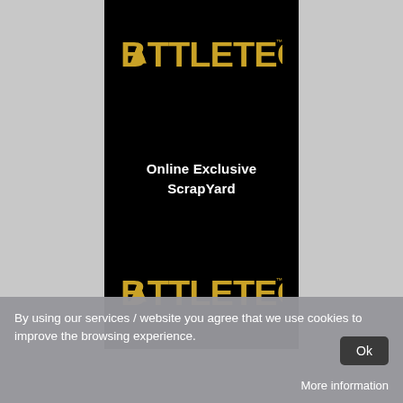[Figure (other): BATTLETECH product card on black background. Top: BATTLETECH logo in gold/yellow. Middle: white bold text 'Online Exclusive ScrapYard'. Bottom: BATTLETECH logo in gold/yellow again.]
By using our services / website you agree that we use cookies to improve the browsing experience.
Ok
More information